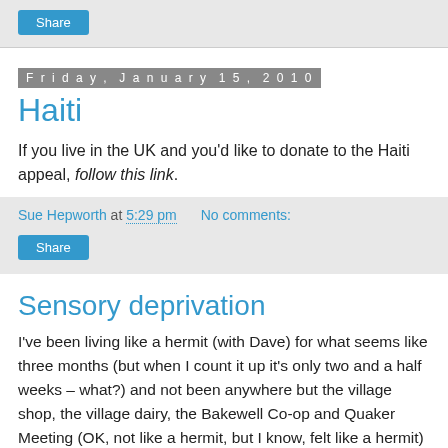[Figure (other): Share button at top of page in grey bar]
Friday, January 15, 2010
Haiti
If you live in the UK and you'd like to donate to the Haiti appeal, follow this link.
Sue Hepworth at 5:29 pm   No comments:
[Figure (other): Share button in grey meta bar]
Sensory deprivation
I've been living like a hermit (with Dave) for what seems like three months (but when I count it up it's only two and a half weeks – what?) and not been anywhere but the village shop, the village dairy, the Bakewell Co-op and Quaker Meeting (OK, not like a hermit, but I know, felt like a hermit) and